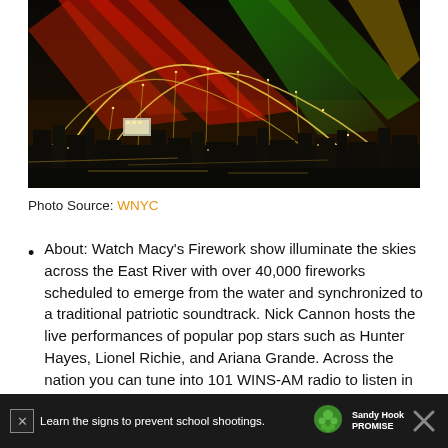[Figure (photo): Night photograph of a city skyline (likely New York) with colorful fireworks illuminating the sky in red, green and gold streaks. A suspension bridge with twinkling lights spans across the foreground over a river.]
Photo Source: WNYC
About: Watch Macy's Firework show illuminate the skies across the East River with over 40,000 fireworks scheduled to emerge from the water and synchronized to a traditional patriotic soundtrack. Nick Cannon hosts the live performances of popular pop stars such as Hunter Hayes, Lionel Richie, and Ariana Grande. Across the nation you can tune into 101 WINS-AM radio to listen in to the